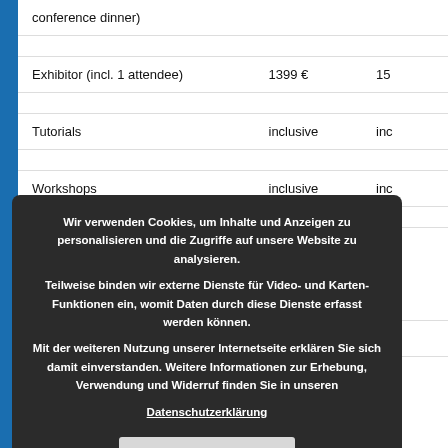| Item | Price |  |
| --- | --- | --- |
| conference dinner) |  |  |
| Exhibitor (incl. 1 attendee) | 1399 € | 15 |
| Tutorials | inclusive | inc |
| Workshops | inclusive | inc |
| Day tickets 2022 |  |  |
| Day Tickets* | Until February 20 | Until 20 |
| Monday April 4, 2022 | 269 € | 319 |
Wir verwenden Cookies, um Inhalte und Anzeigen zu personalisieren und die Zugriffe auf unsere Website zu analysieren. Teilweise binden wir externe Dienste für Video- und Karten-Funktionen ein, womit Daten durch diese Dienste erfasst werden können. Mit der weiteren Nutzung unserer Internetseite erklären Sie sich damit einverstanden. Weitere Informationen zur Erhebung, Verwendung und Widerruf finden Sie in unseren Datenschutzerklärung